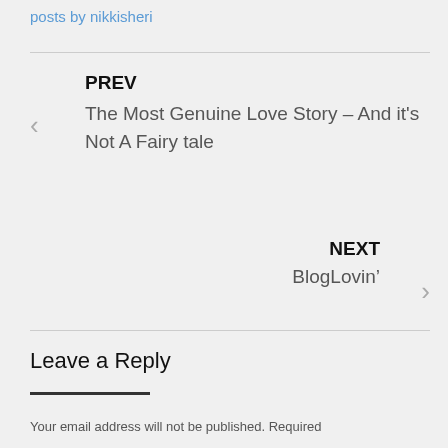posts by nikkisheri
PREV
The Most Genuine Love Story – And it's Not A Fairy tale
NEXT
BlogLovin'
Leave a Reply
Your email address will not be published. Required